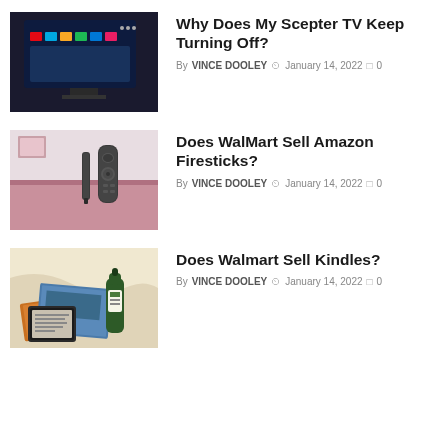[Figure (photo): A Scepter smart TV displaying Android TV home screen interface]
Why Does My Scepter TV Keep Turning Off?
By VINCE DOOLEY  January 14, 2022  0
[Figure (photo): Amazon Fire TV Stick remote and device in front of a pink sofa]
Does WalMart Sell Amazon Firesticks?
By VINCE DOOLEY  January 14, 2022  0
[Figure (photo): A Kindle device with books, magazines, and a bottle on a bed]
Does Walmart Sell Kindles?
By VINCE DOOLEY  January 14, 2022  0